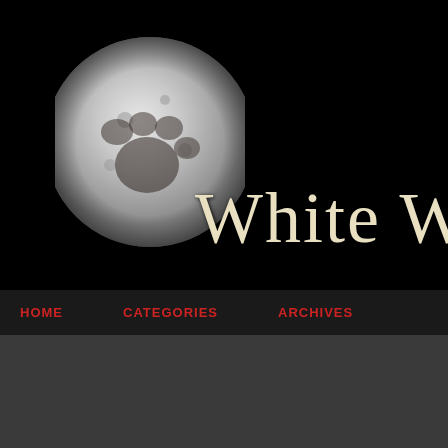[Figure (illustration): Website header banner with black background, a moon with wolf paw print overlay on the left, and large serif text 'WHITE W' (truncated) on the right in cream/ivory color]
HOME   CATEGORIES   ARCHIVES
Tribes Stand Up Against "War On Wo
A series of legislation and proposed legislation in Western states has a